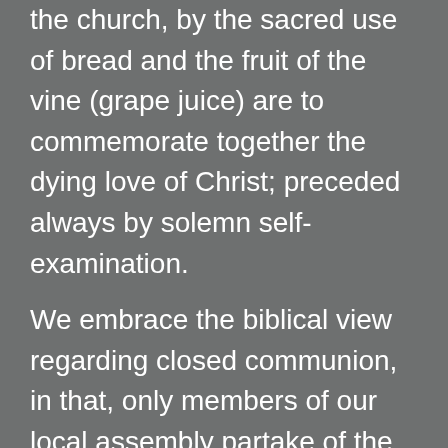the church, by the sacred use of bread and the fruit of the vine (grape juice) are to commemorate together the dying love of Christ; preceded always by solemn self-examination.
We embrace the biblical view regarding closed communion, in that, only members of our local assembly partake of the elements of the Lord's Supper